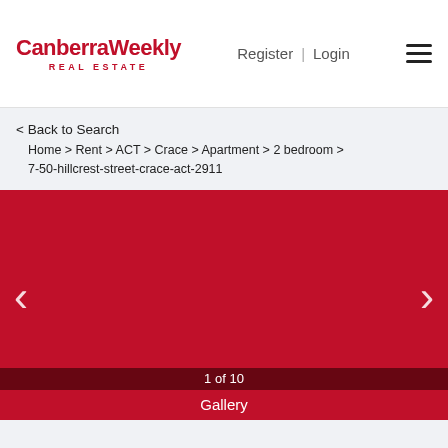Canberra Weekly REAL ESTATE | Register | Login
< Back to Search
Home > Rent > ACT > Crace > Apartment > 2 bedroom > 7-50-hillcrest-street-crace-act-2911
[Figure (photo): Red image gallery placeholder showing 1 of 10, with left and right navigation arrows, and a Gallery label at the bottom]